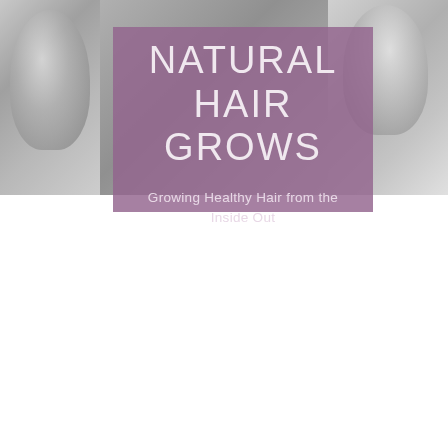[Figure (photo): A collage of three grayscale photos of women with natural hair, arranged side by side as a banner strip across the top of the page. A semi-transparent purple overlay box is centered over the photos containing the title text.]
NATURAL HAIR GROWS
Growing Healthy Hair from the Inside Out